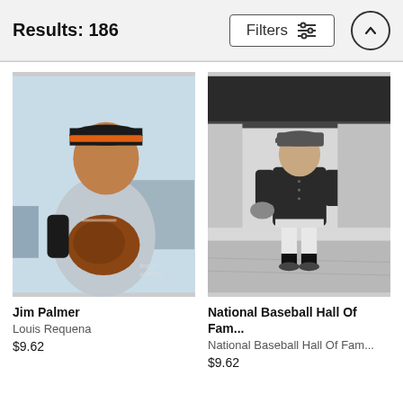Results: 186
[Figure (screenshot): UI Filters button with sliders icon]
[Figure (photo): Color photo of Jim Palmer in Baltimore Orioles uniform holding a baseball glove, with 'fine art america' watermark]
Jim Palmer
Louis Requena
$9.62
[Figure (photo): Black and white photo of a baseball player in vintage uniform standing on a field]
National Baseball Hall Of Fam...
National Baseball Hall Of Fam...
$9.62